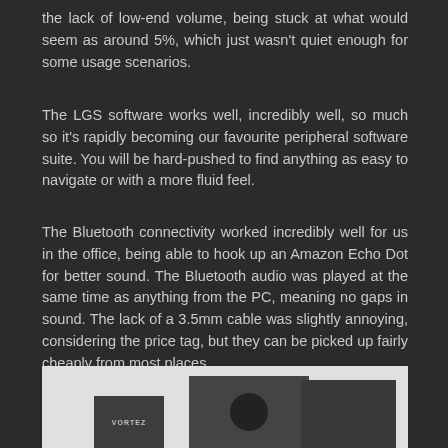the lack of low-end volume, being stuck at what would seem as around 5%, which just wasn't quiet enough for some usage scenarios.
The LGS software works well, incredibly well, so much so it's rapidly becoming our favourite peripheral software suite. You will be hard-pushed to find anything as easy to navigate or with a more fluid feel.
The Bluetooth connectivity worked incredibly well for us in the office, being able to hook up an Amazon Echo Dot for better sound. The Bluetooth audio was played at the same time as anything from the PC, meaning no gaps in sound. The lack of a 3.5mm cable was slightly annoying, considering the price tag, but they can be picked up fairly cheaply from most places.
[Figure (photo): Photo of speakers including a Vortez branded speaker unit and a larger dark speaker with a circular driver visible, shown against a light background.]